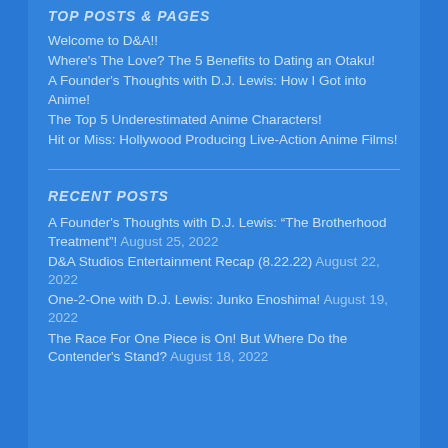TOP POSTS & PAGES
Welcome to D&A!!
Where's The Love? The 5 Benefits to Dating an Otaku!
A Founder's Thoughts with D.J. Lewis: How I Got into Anime!
The Top 5 Underestimated Anime Characters!
Hit or Miss: Hollywood Producing Live-Action Anime Films!
RECENT POSTS
A Founder's Thoughts with D.J. Lewis: “The Brotherhood Treatment”! August 25, 2022
D&A Studios Entertainment Recap (8.22.22) August 22, 2022
One-2-One with D.J. Lewis: Junko Enoshima! August 19, 2022
The Race For One Piece is On! But Where Do the Contender's Stand? August 18, 2022